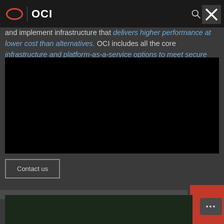OCI
and implement infrastructure that delivers higher performance at lower cost than alternatives. OCI includes all the core infrastructure and platform-as-a-service options to meet secure...
[Figure (screenshot): Black video embed area on dark background]
Contact us
[Figure (photo): Bottom image strip showing dark greenish scene, partially visible]